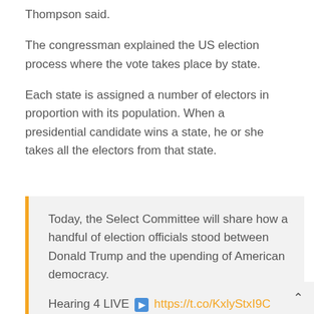Thompson said.
The congressman explained the US election process where the vote takes place by state.
Each state is assigned a number of electors in proportion with its population. When a presidential candidate wins a state, he or she takes all the electors from that state.
Today, the Select Committee will share how a handful of election officials stood between Donald Trump and the upending of American democracy.

Hearing 4 LIVE 🔗 https://t.co/KxlyStxI9C

— January 6th Committee